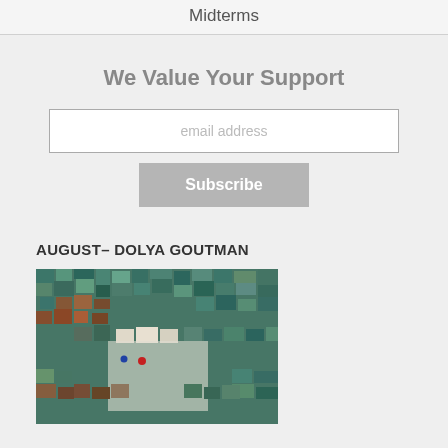Midterms
We Value Your Support
email address
Subscribe
AUGUST– DOLYA GOUTMAN
[Figure (photo): Mosaic-style painting showing abstract figure with fragmented colored tiles in teal, brown, orange, and white tones — artwork by Dolya Goutman]